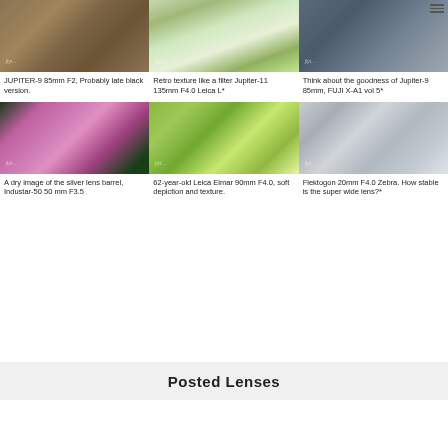[Figure (photo): Cardboard package/box with stamps and barcode, overhead view]
JUPITER-9 85mm F2, Probably late black version.
[Figure (photo): Outdoor scene with red rose among green foliage, soft bokeh background]
Retro texture like a filter Jupiter-11 135mm F4.0 Leica L*
[Figure (photo): Children in dark clothing viewed through glass, blurred]
Think about the goodness of Jupiter-9 85mm, FUJI X-A1 vol 5*
[Figure (photo): Pink and red tulips close-up with dark green leaves]
A dry image of the silver lens barrel, Industar-50 50 mm F3.5
[Figure (photo): Green tropical plant with large leaves, soft focus]
62-year-old Leica Elmar 90mm F4.0, soft depiction and texture.
[Figure (photo): Concrete stairs with person's legs/feet, light gray tones]
Flektogon 20mm F4.0 Zebra. How stable is the super wide lens?*
Posted Lenses